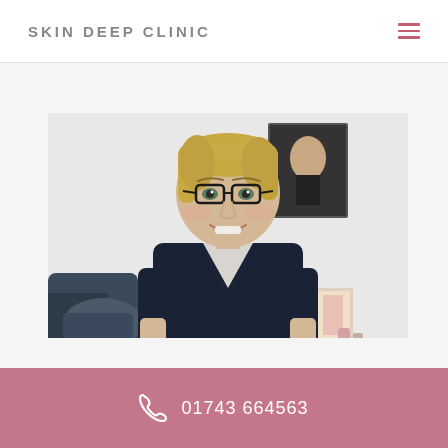SKIN DEEP CLINIC
[Figure (photo): A smiling woman with short blonde hair and glasses wearing a dark navy v-neck scrub top, standing in a clinical setting with a treatment chair visible on the left and skincare product brochures/display in the background on the right.]
01743 664563